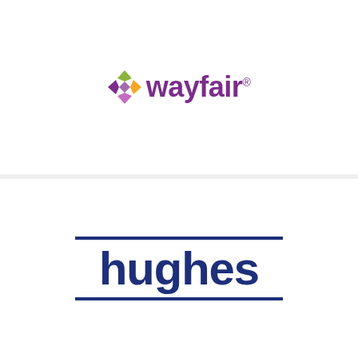[Figure (logo): Wayfair logo with colorful diamond/cross icon and purple wordmark 'wayfair' with registered trademark symbol]
[Figure (logo): Hughes logo with navy blue wordmark 'hughes' in bold lowercase letters, with two horizontal navy lines above and below the text]